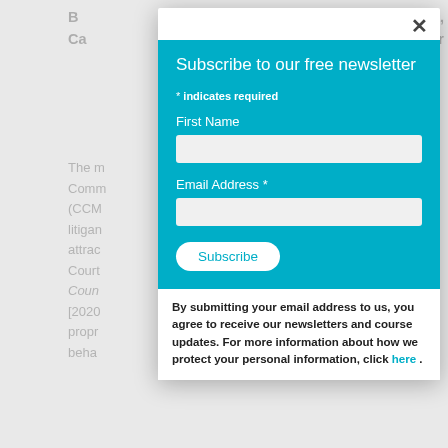B... Ca... ...neyr
The r... Comm (CCM... liigan... attrac... Court Coun [2020... propr beha...
Back...
The f... emple... absco... to the... Logis... forms... emple... subse... arbitration forms were signed by the employee's attorney. At
[Figure (screenshot): Newsletter subscription modal overlay on a legal document page. Modal has a cyan/teal section with title 'Subscribe to our free newsletter', fields for First Name and Email Address, a Subscribe button, and a footer with text about email/privacy policy and a 'here' link.]